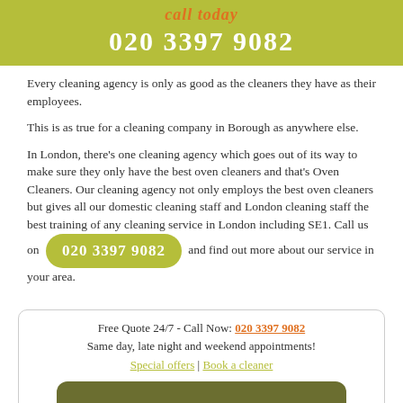call today
020 3397 9082
Every cleaning agency is only as good as the cleaners they have as their employees.
This is as true for a cleaning company in Borough as anywhere else.
In London, there's one cleaning agency which goes out of its way to make sure they only have the best oven cleaners and that's Oven Cleaners. Our cleaning agency not only employs the best oven cleaners but gives all our domestic cleaning staff and London cleaning staff the best training of any cleaning service in London including SE1. Call us on 020 3397 9082 and find out more about our service in your area.
Free Quote 24/7 - Call Now: 020 3397 9082
Same day, late night and weekend appointments!
Special offers | Book a cleaner
Free quote!